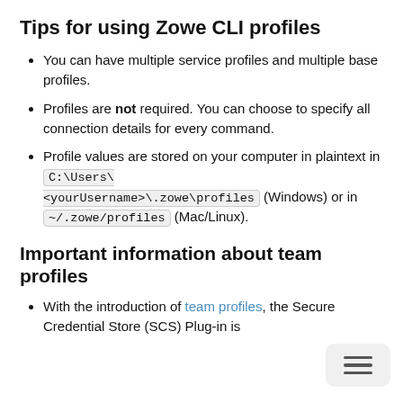Tips for using Zowe CLI profiles
You can have multiple service profiles and multiple base profiles.
Profiles are not required. You can choose to specify all connection details for every command.
Profile values are stored on your computer in plaintext in C:\Users\<yourUsername>\.zowe\profiles (Windows) or in ~/.zowe/profiles (Mac/Linux).
Important information about team profiles
With the introduction of team profiles, the Secure Credential Store (SCS) Plug-in is